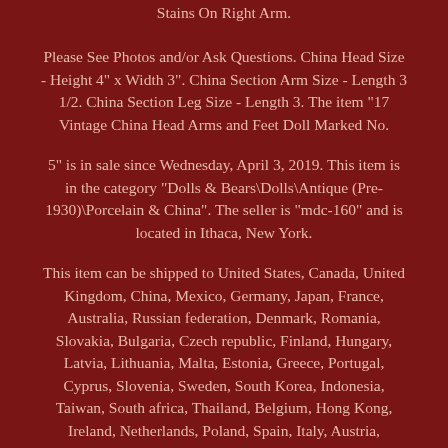Stains On Right Arm.
Please See Photos and/or Ask Questions. China Head Size - Height 4" x Width 3". China Section Arm Size - Length 3 1/2. China Section Leg Size - Length 3. The item "17 Vintage China Head Arms and Feet Doll Marked No.
5" is in sale since Wednesday, April 3, 2019. This item is in the category "Dolls & Bears\Dolls\Antique (Pre-1930)\Porcelain & China". The seller is "mdc-160" and is located in Ithaca, New York.
This item can be shipped to United States, Canada, United Kingdom, China, Mexico, Germany, Japan, France, Australia, Russian federation, Denmark, Romania, Slovakia, Bulgaria, Czech republic, Finland, Hungary, Latvia, Lithuania, Malta, Estonia, Greece, Portugal, Cyprus, Slovenia, Sweden, South Korea, Indonesia, Taiwan, South africa, Thailand, Belgium, Hong Kong, Ireland, Netherlands, Poland, Spain, Italy, Austria, Bahamas, Israel, New Zealand, Philippines, Singapore, Switzerland, Norway, Saudi arabia, Ukraine, United arab emirates, Qatar, Kuwait, it...